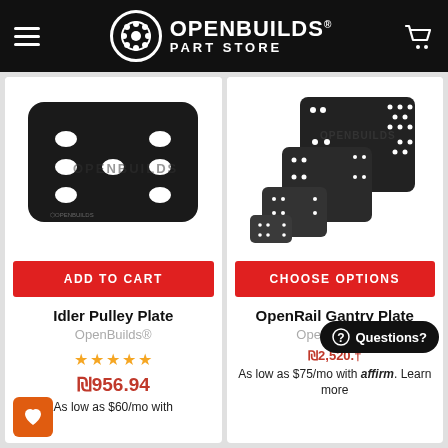OpenBuilds Part Store
[Figure (photo): Black rectangular Idler Pulley Plate with 8 oval holes and OpenBuilds watermark logo]
ADD TO CART
Idler Pulley Plate
OpenBuilds®
★★★★★
₪956.94
As low as $60/mo with
[Figure (photo): Set of black anodized OpenRail Gantry Plates in various sizes fanned out, with hole patterns, OpenBuilds watermark]
CHOOSE OPTIONS
OpenRail Gantry Plate
OpenBuilds®
As low as $75/mo with affirm. Learn more